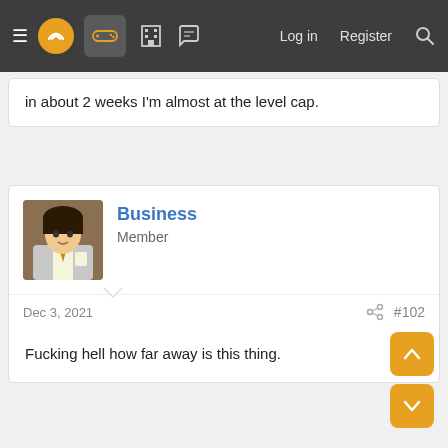Navigation bar with hamburger menu, logo, controller icon, building icon, chat icon, Log in, Register, Search
in about 2 weeks I'm almost at the level cap.
Business
Member
Dec 3, 2021  #102
Fucking hell how far away is this thing.